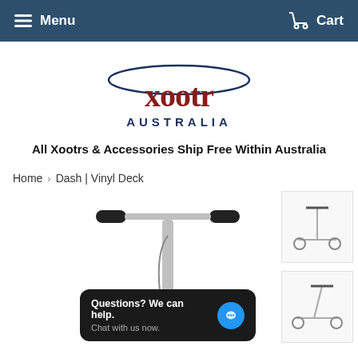Menu | Cart
[Figure (logo): Xootr Australia logo — red/maroon stylized 'xootr' wordmark with blue oval swoosh above and 'AUSTRALIA' in dark blue below]
All Xootrs & Accessories Ship Free Within Australia
Home > Dash | Vinyl Deck
[Figure (photo): Close-up photo of a Xootr Dash scooter handlebar and stem in silver/chrome, with two smaller thumbnail images on the right showing the full scooter from the side]
Questions? We can help. Chat with us now.